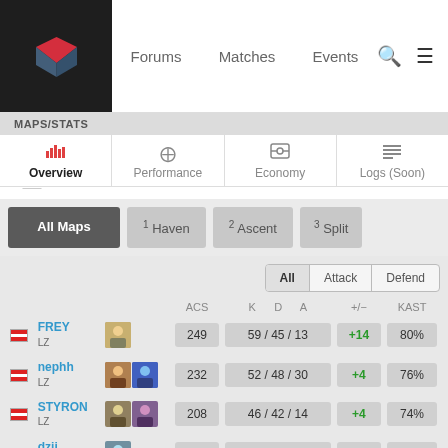Forums  Matches  Events
MAPS/STATS
Overview
Performance
Economy
Logs (Soon)
All Maps
1 Haven
2 Ascent
3 Split
|  |  |  | ACS | K | D | A | +/- | KAST |
| --- | --- | --- | --- | --- | --- | --- | --- | --- |
| SG | FREY
LZ |  | 249 | 59 / 45 / 13 |  |  | +14 | 80% |
| SG | nephh
LZ |  | 232 | 52 / 48 / 30 |  |  | +4 | 76% |
| SG | STYRON
LZ |  | 208 | 46 / 42 / 14 |  |  | +4 | 74% |
| SG | dzii
LZ |  | 215 | 47 / 44 / 11 |  |  | +3 | 67% |